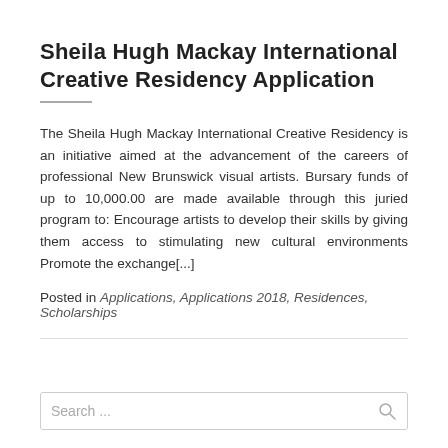Sheila Hugh Mackay International Creative Residency Application
The Sheila Hugh Mackay International Creative Residency is an initiative aimed at the advancement of the careers of professional New Brunswick visual artists. Bursary funds of up to 10,000.00 are made available through this juried program to: Encourage artists to develop their skills by giving them access to stimulating new cultural environments Promote the exchange[...]
Posted in Applications, Applications 2018, Residences, Scholarships